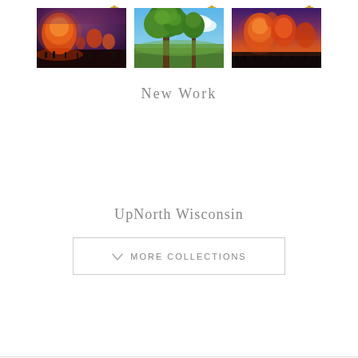[Figure (photo): Three photos of hot air balloon events and nature scenes displayed as pouch/bag product thumbnails with zipper clips at top. Left: hot air balloons glowing orange at night with crowd. Center: trees with lush green foliage and blue sky. Right: hot air balloons at sunset/dusk with crowd.]
New Work
UpNorth Wisconsin
MORE COLLECTIONS